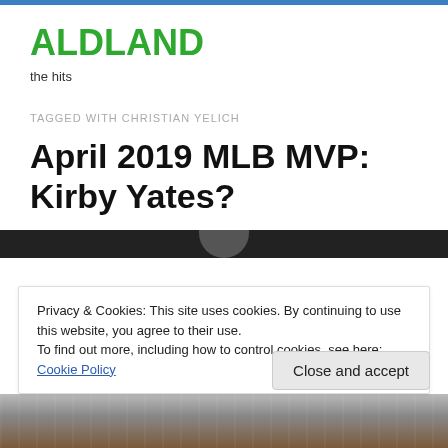ALDLAND
the hits
TAGGED WITH CHRISTIAN YELICH
April 2019 MLB MVP: Kirby Yates?
[Figure (photo): Dark header strip of an article image, partially visible]
Privacy & Cookies: This site uses cookies. By continuing to use this website, you agree to their use.
To find out more, including how to control cookies, see here: Cookie Policy
Close and accept
[Figure (photo): Bottom strip of a photo showing a baseball player in a white jersey]